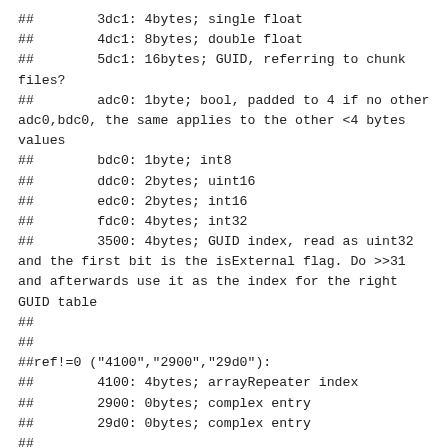##        3dc1: 4bytes; single float
##        4dc1: 8bytes; double float
##        5dc1: 16bytes; GUID, referring to chunk files?
##        adc0: 1byte; bool, padded to 4 if no other adc0,bdc0, the same applies to the other <4 bytes values
##        bdc0: 1byte; int8
##        ddc0: 2bytes; uint16
##        edc0: 2bytes; int16
##        fdc0: 4bytes; int32
##        3500: 4bytes; GUID index, read as uint32 and the first bit is the isExternal flag. Do >>31 and afterwards use it as the index for the right GUID table
##
##
##ref!=0 ("4100","2900","29d0"):
##        4100: 4bytes; arrayRepeater index
##        2900: 0bytes; complex entry
##        29d0: 0bytes; complex entry
##